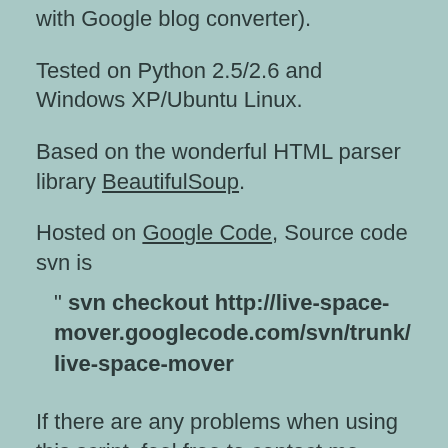with Google blog converter).
Tested on Python 2.5/2.6 and Windows XP/Ubuntu Linux.
Based on the wonderful HTML parser library BeautifulSoup.
Hosted on Google Code, Source code svn is
" svn checkout http://live-space-mover.googlecode.com/svn/trunk/ live-space-mover
If there are any problems when using this script, feel free to contact me. weiwei9@Gmail.com